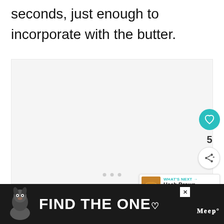seconds, just enough to incorporate with the butter.
[Figure (photo): Image area with navigation dots, showing a food photo placeholder with a teal heart/favorite button, share button, and count of 5. A 'What's Next' callout shows Hash Brown Casserole.]
[Figure (infographic): Advertisement banner with dark background showing a dog image and text 'FIND THE ONE' with a heart icon, plus a close button and logo.]